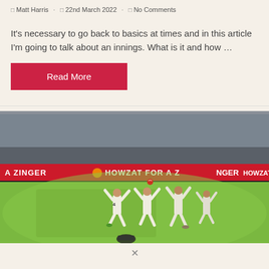Matt Harris · 22nd March 2022 · No Comments
It's necessary to go back to basics at times and in this article I'm going to talk about an innings. What is it and how …
Read More
[Figure (photo): Cricket players on a field celebrating a dismissal or wicket, with spectators in the background and advertising hoardings showing 'A ZINGER HOWZAT FOR A ZINGER HOWZAT' in red. Players wearing white cricket gear, one with number 4 on their back.]